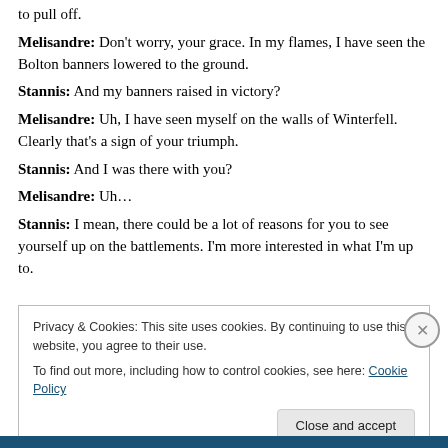to pull off.
Melisandre: Don't worry, your grace. In my flames, I have seen the Bolton banners lowered to the ground.
Stannis: And my banners raised in victory?
Melisandre: Uh, I have seen myself on the walls of Winterfell. Clearly that's a sign of your triumph.
Stannis: And I was there with you?
Melisandre: Uh...
Stannis: I mean, there could be a lot of reasons for you to see yourself up on the battlements. I'm more interested in what I'm up to.
Privacy & Cookies: This site uses cookies. By continuing to use this website, you agree to their use. To find out more, including how to control cookies, see here: Cookie Policy
Close and accept